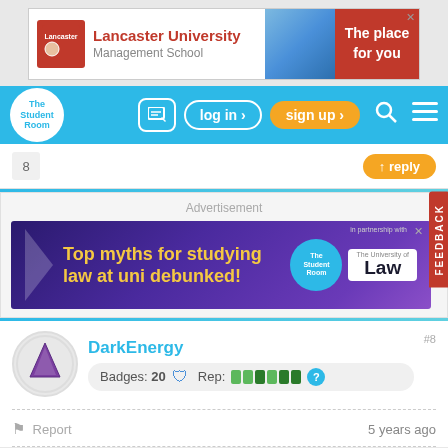[Figure (screenshot): Lancaster University Management School advertisement banner with logo and 'The place for you' text on red background]
[Figure (screenshot): The Student Room navigation bar with log in, sign up, search and menu buttons]
[Figure (screenshot): Reply button bar with post number 8]
[Figure (screenshot): Advertisement for 'Top myths for studying law at uni debunked!' featuring The Student Room and University of Law logos]
DarkEnergy
Badges: 20  Rep:
Report   5 years ago
Physics